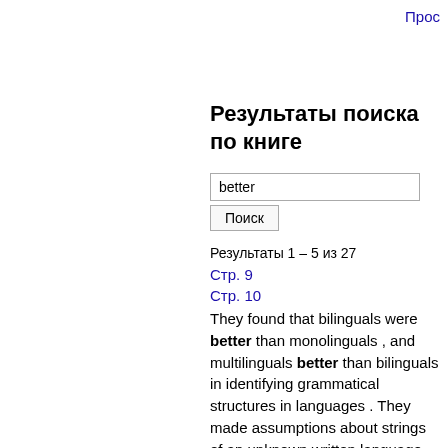Прос
Результаты поиска по книге
better
Поиск
Результаты 1 – 5 из 27
Стр. 9
Стр. 10
They found that bilinguals were better than monolinguals , and multilinguals better than bilinguals in identifying grammatical structures in languages . They made assumptions about strings of an unknown written language that later ...